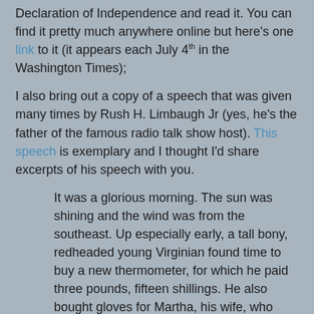Declaration of Independence and read it. You can find it pretty much anywhere online but here's one link to it (it appears each July 4th in the Washington Times);
I also bring out a copy of a speech that was given many times by Rush H. Limbaugh Jr (yes, he's the father of the famous radio talk show host). This speech is exemplary and I thought I'd share excerpts of his speech with you.
It was a glorious morning. The sun was shining and the wind was from the southeast. Up especially early, a tall bony, redheaded young Virginian found time to buy a new thermometer, for which he paid three pounds, fifteen shillings. He also bought gloves for Martha, his wife, who was ill at home.
Thomas Jefferson arrived early at the statehouse. The temperature was 72.5 degrees and the horseflies weren't nearly so bad at that hour. It was a lovely room, very large, with gleaming white walls. The chairs were comfortable. For in their wisdom, the...